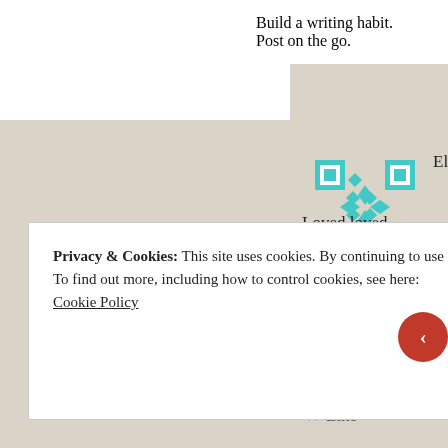Build a writing habit. Post on the go.
Eliza on January 16, 2014 at 2:
[Figure (illustration): Teal and white geometric/QR-style avatar pattern]
Loved loved discovering us ca jag beg on hands and knees to And make the book long!!!!
★ Like
Reply ↓
Privacy & Cookies: This site uses cookies. By continuing to use this website, you agree to their use.
To find out more, including how to control cookies, see here: Cookie Policy
Close and accept